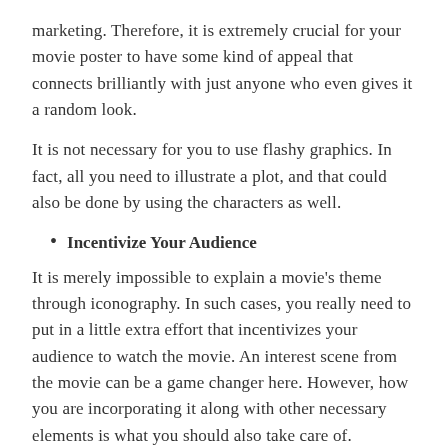marketing. Therefore, it is extremely crucial for your movie poster to have some kind of appeal that connects brilliantly with just anyone who even gives it a random look.
It is not necessary for you to use flashy graphics. In fact, all you need to illustrate a plot, and that could also be done by using the characters as well.
Incentivize Your Audience
It is merely impossible to explain a movie's theme through iconography. In such cases, you really need to put in a little extra effort that incentivizes your audience to watch the movie. An interest scene from the movie can be a game changer here. However, how you are incorporating it along with other necessary elements is what you should also take care of.